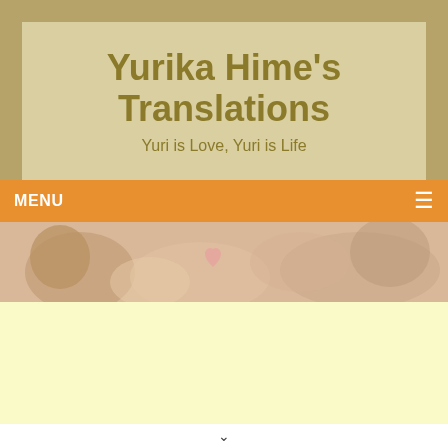Yurika Hime's Translations
Yuri is Love, Yuri is Life
MENU ☰
[Figure (illustration): Manga-style illustration with warm peachy/brown tones showing anime characters, partially visible hearts]
[Figure (other): Light yellow advertisement banner area]